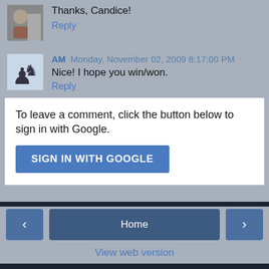Thanks, Candice!
Reply
AM Monday, November 02, 2009 8:17:00 PM
Nice! I hope you win/won.
Reply
To leave a comment, click the button below to sign in with Google.
SIGN IN WITH GOOGLE
Home
View web version
Powered by Blogger.